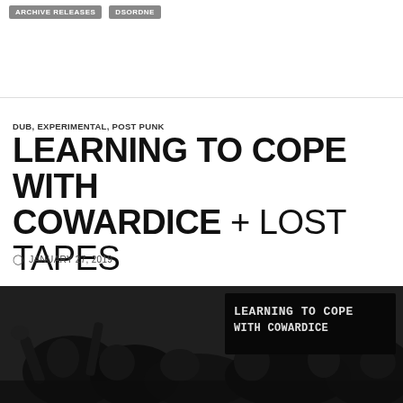ARCHIVE RELEASES   DSORDNE
DUB, EXPERIMENTAL, POST PUNK
LEARNING TO COPE WITH COWARDICE + LOST TAPES
JANUARY 27, 2019
[Figure (photo): Black and white album cover for 'Learning To Cope With Cowardice' showing crowd/protest scene with text overlay in handwritten style font]